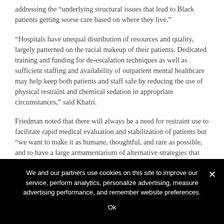addressing the “underlying structural issues that lead to Black patients getting worse care based on where they live.”
“Hospitals have unequal distribution of resources and quality, largely patterned on the racial makeup of their patients. Dedicated training and funding for de-escalation techniques as well as sufficient staffing and availability of outpatient mental healthcare may help keep both patients and staff safe by reducing the use of physical restraint and chemical sedation in appropriate circumstances,” said Khatri.
Friedman noted that there will always be a need for restraint use to facilitate rapid medical evaluation and stabilization of patients but “we want to make it as humane, thoughtful, and rare as possible, and to have a large armamentarium of alternative strategies that can be equitably applied across emergency departments.”
addressing the “underlying structural issues...
We and our partners use cookies on this site to improve our service, perform analytics, personalize advertising, measure advertising performance, and remember website preferences.
Ok